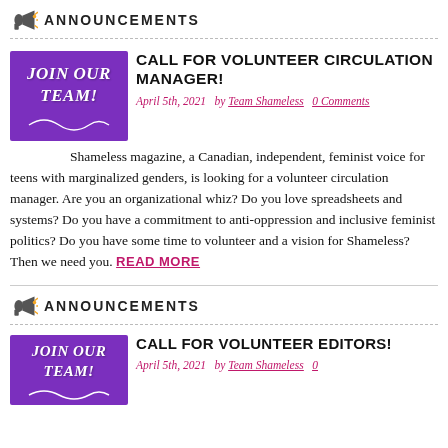ANNOUNCEMENTS
CALL FOR VOLUNTEER CIRCULATION MANAGER!
April 5th, 2021  by Team Shameless  0 Comments
Shameless magazine, a Canadian, independent, feminist voice for teens with marginalized genders, is looking for a volunteer circulation manager. Are you an organizational whiz? Do you love spreadsheets and systems? Do you have a commitment to anti-oppression and inclusive feminist politics? Do you have some time to volunteer and a vision for Shameless? Then we need you. READ MORE
ANNOUNCEMENTS
CALL FOR VOLUNTEER EDITORS!
April 5th, 2021  by Team Shameless  0